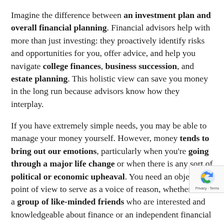Imagine the difference between an investment plan and overall financial planning. Financial advisors help with more than just investing: they proactively identify risks and opportunities for you, offer advice, and help you navigate college finances, business succession, and estate planning. This holistic view can save you money in the long run because advisors know how they interplay.
If you have extremely simple needs, you may be able to manage your money yourself. However, money tends to bring out our emotions, particularly when you're going through a major life change or when there is any sort of political or economic upheaval. You need an objective point of view to serve as a voice of reason, whether that's a group of like-minded friends who are interested and knowledgeable about finance or an independent financial advisor.
Discover the Benefits Yourself